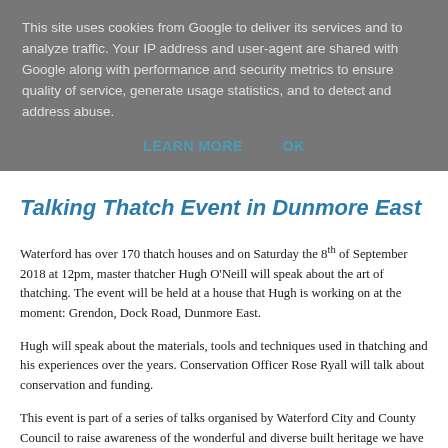This site uses cookies from Google to deliver its services and to analyze traffic. Your IP address and user-agent are shared with Google along with performance and security metrics to ensure quality of service, generate usage statistics, and to detect and address abuse.
LEARN MORE   OK
Talking Thatch Event in Dunmore East
Waterford has over 170 thatch houses and on Saturday the 8th of September 2018 at 12pm, master thatcher Hugh O'Neill will speak about the art of thatching. The event will be held at a house that Hugh is working on at the moment: Grendon, Dock Road, Dunmore East.
Hugh will speak about the materials, tools and techniques used in thatching and his experiences over the years. Conservation Officer Rose Ryall will talk about conservation and funding.
This event is part of a series of talks organised by Waterford City and County Council to raise awareness of the wonderful and diverse built heritage we have in Waterford.